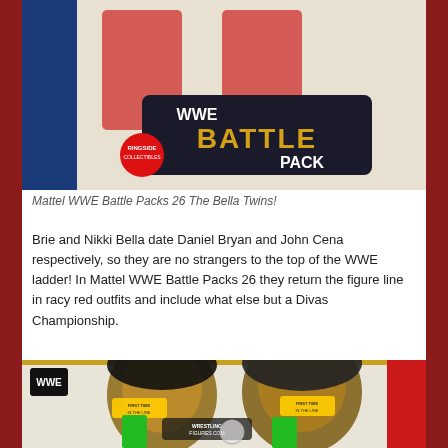[Figure (photo): Mattel WWE Battle Packs 26 The Bella Twins action figure packaging showing two figures in red outfits with WWE Battle Pack branding and Ringside Collectibles logo]
Mattel WWE Battle Packs 26 The Bella Twins!
Brie and Nikki Bella date Daniel Bryan and John Cena respectively, so they are no strangers to the top of the WWE ladder! In Mattel WWE Battle Packs 26 they return the figure line in racy red outfits and include what else but a Divas Championship.
[Figure (photo): WWE Battle Packs action figure packaging showing two female wrestlers (Cameron and Naomi) in green outfits with Wrestling Figures .com watermark and 'First Time In The Line' badges]